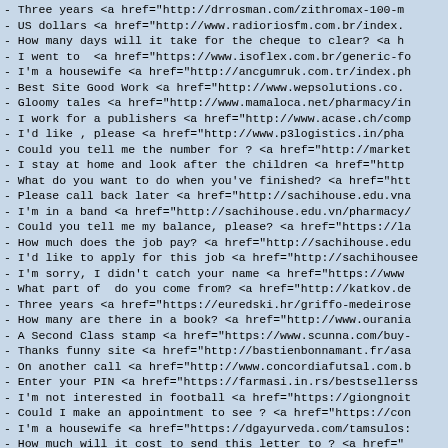- Three years <a href="http://drrosman.com/zithromax-100-m...
- US dollars <a href="http://www.radioriosfm.com.br/index....
- How many days will it take for the cheque to clear? <a h...
- I went to  <a href="https://www.isoflex.com.br/generic-f...
- I'm a housewife <a href="http://ancgumruk.com.tr/index.ph...
- Best Site Good Work <a href="http://www.wepsolutions.co....
- Gloomy tales <a href="http://www.mamaloca.net/pharmacy/in...
- I work for a publishers <a href="http://www.acase.ch/comp...
- I'd like , please <a href="http://www.p3logistics.in/pha...
- Could you tell me the number for ? <a href="http://market...
- I stay at home and look after the children <a href="http...
- What do you want to do when you've finished? <a href="htt...
- Please call back later <a href="http://sachihouse.edu.vna...
- I'm in a band <a href="http://sachihouse.edu.vn/pharmacy/...
- Could you tell me my balance, please? <a href="https://la...
- How much does the job pay? <a href="http://sachihouse.edu...
- I'd like to apply for this job <a href="http://sachihousee...
- I'm sorry, I didn't catch your name <a href="https://www...
- What part of  do you come from? <a href="http://katkov.de...
- Three years <a href="https://euredski.hr/griffo-medeiroso...
- How many are there in a book? <a href="http://www.ourania...
- A Second Class stamp <a href="https://www.scunna.com/buy-...
- Thanks funny site <a href="http://bastienbonnamant.fr/asa...
- On another call <a href="http://www.concordiafutsal.com.b...
- Enter your PIN <a href="https://farmasi.in.rs/bestsellerss...
- I'm not interested in football <a href="https://giongnoit...
- Could I make an appointment to see ? <a href="https://con...
- I'm a housewife <a href="https://dgayurveda.com/tamsulos:...
- How much will it cost to send this letter to ? <a href="...